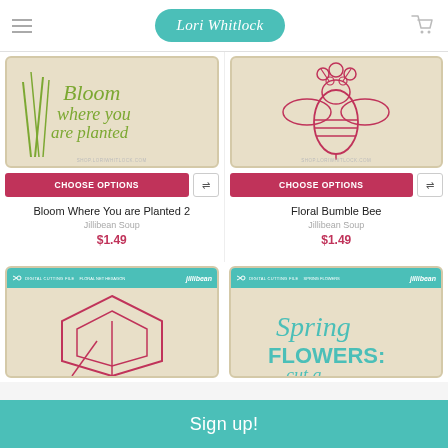Lori Whitlock
[Figure (illustration): Product card: Bloom Where You are Planted 2 - green script text on tan background]
[Figure (illustration): Product card: Floral Bumble Bee - red bee with flowers illustration on tan background]
CHOOSE OPTIONS
CHOOSE OPTIONS
Bloom Where You are Planted 2
Jillibean Soup
$1.49
Floral Bumble Bee
Jillibean Soup
$1.49
[Figure (illustration): Jillibean Soup product packaging: Floral Net Hexagon digital cutting file]
[Figure (illustration): Jillibean Soup product packaging: Spring Flowers digital cutting file]
Sign up!